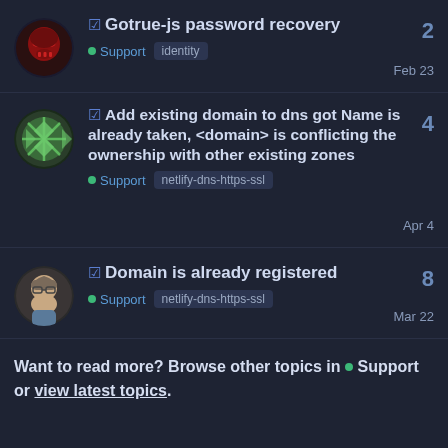☑ Gotrue-js password recovery | Support | identity | 2 | Feb 23
☑ Add existing domain to dns got Name is already taken, <domain> is conflicting the ownership with other existing zones | Support | netlify-dns-https-ssl | 4 | Apr 4
☑ Domain is already registered | Support | netlify-dns-https-ssl | 8 | Mar 22
Want to read more? Browse other topics in ● Support or view latest topics.